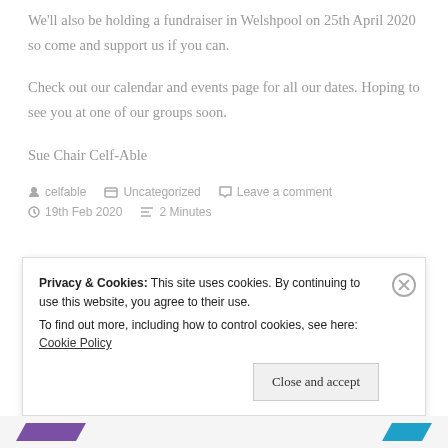We'll also be holding a fundraiser in Welshpool on 25th April 2020 so come and support us if you can.
Check out our calendar and events page for all our dates. Hoping to see you at one of our groups soon.
Sue Chair Celf-Able
celfable   Uncategorized   Leave a comment   19th Feb 2020   2 Minutes
Privacy & Cookies: This site uses cookies. By continuing to use this website, you agree to their use.
To find out more, including how to control cookies, see here: Cookie Policy
Close and accept